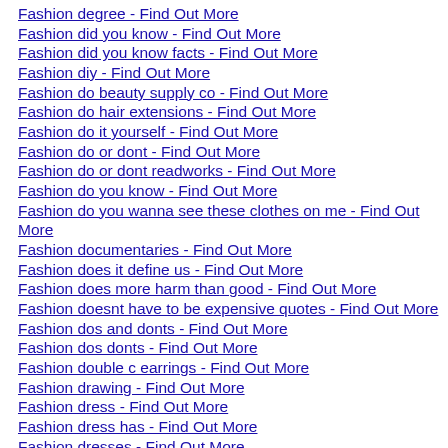Fashion degree - Find Out More
Fashion did you know - Find Out More
Fashion did you know facts - Find Out More
Fashion diy - Find Out More
Fashion do beauty supply co - Find Out More
Fashion do hair extensions - Find Out More
Fashion do it yourself - Find Out More
Fashion do or dont - Find Out More
Fashion do or dont readworks - Find Out More
Fashion do you know - Find Out More
Fashion do you wanna see these clothes on me - Find Out More
Fashion documentaries - Find Out More
Fashion does it define us - Find Out More
Fashion does more harm than good - Find Out More
Fashion doesnt have to be expensive quotes - Find Out More
Fashion dos and donts - Find Out More
Fashion dos donts - Find Out More
Fashion double c earrings - Find Out More
Fashion drawing - Find Out More
Fashion dress - Find Out More
Fashion dress has - Find Out More
Fashion dresses - Find Out More
Fashion earring - Find Out More
Fashion earrings - Find Out More
Fashion east - Find Out More